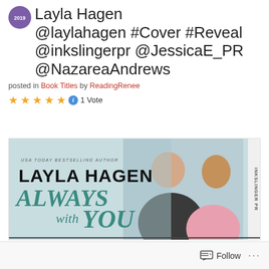Layla Hagen @laylahagen #Cover #Reveal @inkslingerpr @JessicaE_PR @NazareaAndrews
posted in Book Titles by ReadingRenee
★★★★★ i 1 Vote
[Figure (illustration): Book cover banner for 'Always With You' by Layla Hagen (USA Today Bestselling Author), featuring a couple in formal wear leaning toward each other smiling, with INKSLINGER PR branding on the right side.]
Follow ...